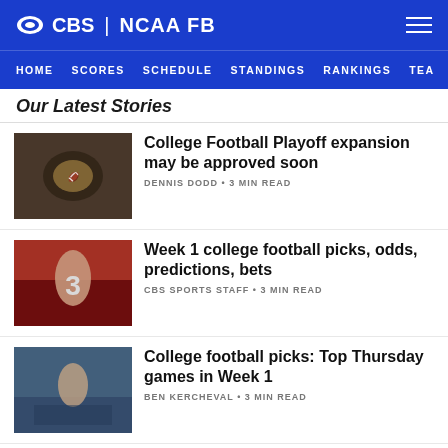CBS | NCAA FB
HOME  SCORES  SCHEDULE  STANDINGS  RANKINGS  TEA...
Our Latest Stories
[Figure (photo): Football helmet close-up photo]
College Football Playoff expansion may be approved soon
DENNIS DODD • 3 MIN READ
[Figure (photo): Football player in red uniform running]
Week 1 college football picks, odds, predictions, bets
CBS SPORTS STAFF • 3 MIN READ
[Figure (photo): Football coach on sideline]
College football picks: Top Thursday games in Week 1
BEN KERCHEVAL • 3 MIN READ
[Figure (photo): Football field aerial view with NCAA logo]
NCAA board adopts transfer windows, infractions rules
SHEHAN JEYARAJAH • 3 MIN READ